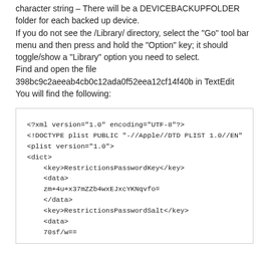character string – There will be a DEVICEBACKUPFOLDER folder for each backed up device.
If you do not see the /Library/ directory, select the "Go" tool bar menu and then press and hold the "Option" key; it should toggle/show a "Library" option you need to select.
Find and open the file 398bc9c2aeeab4cb0c12ada0f52eea12cf14f40b in TextEdit
You will find the following:
[Figure (screenshot): A code box showing XML/plist content with RestrictionsPasswordKey and RestrictionsPasswordSalt entries]